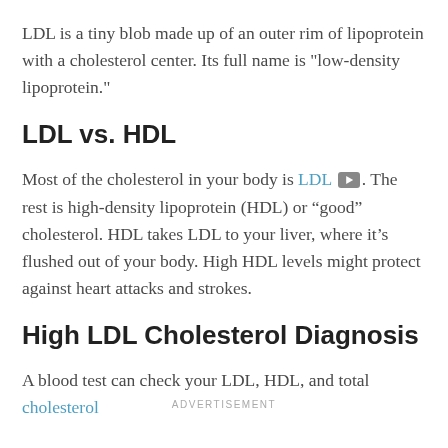LDL is a tiny blob made up of an outer rim of lipoprotein with a cholesterol center. Its full name is "low-density lipoprotein."
LDL vs. HDL
Most of the cholesterol in your body is LDL [video icon]. The rest is high-density lipoprotein (HDL) or “good” cholesterol. HDL takes LDL to your liver, where it’s flushed out of your body. High HDL levels might protect against heart attacks and strokes.
High LDL Cholesterol Diagnosis
A blood test can check your LDL, HDL, and total cholesterol
ADVERTISEMENT